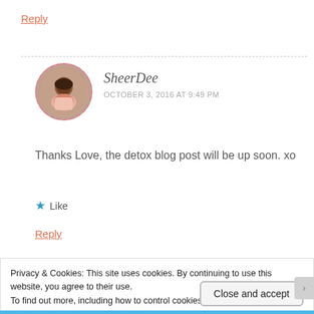Reply
[Figure (photo): Circular avatar photo of SheerDee with dashed pink border, showing a woman in a pink top]
SheerDee
OCTOBER 3, 2016 AT 9:49 PM
Thanks Love, the detox blog post will be up soon. xo
★ Like
Reply
Privacy & Cookies: This site uses cookies. By continuing to use this website, you agree to their use.
To find out more, including how to control cookies, see here: Cookie Policy
Close and accept